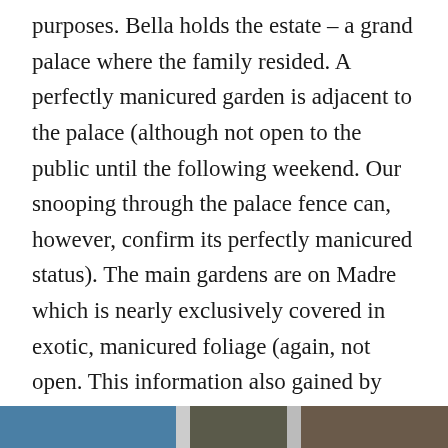purposes. Bella holds the estate – a grand palace where the family resided. A perfectly manicured garden is adjacent to the palace (although not open to the public until the following weekend. Our snooping through the palace fence can, however, confirm its perfectly manicured status). The main gardens are on Madre which is nearly exclusively covered in exotic, manicured foliage (again, not open. This information also gained by snooping). The final village is the poor cousin of the three (and perhaps not unsurprisingly, completely accessible to any old tourist): de Pescatori, a preserved fishing village.
[Figure (photo): Strip of three partial photos at the bottom of the page]